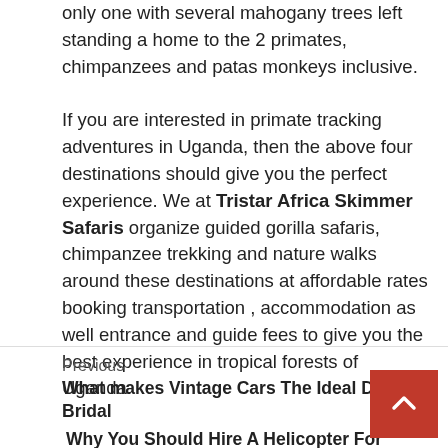only one with several mahogany trees left standing a home to the 2 primates, chimpanzees and patas monkeys inclusive. If you are interested in primate tracking adventures in Uganda, then the above four destinations should give you the perfect experience. We at Tristar Africa Skimmer Safaris organize guided gorilla safaris, chimpanzee trekking and nature walks around these destinations at affordable rates booking transportation , accommodation as well entrance and guide fees to give you the best experience in tropical forests of Uganda.
Previous
What makes Vintage Cars The Ideal Dream Bridal
Why You Should Hire A Helicopter For Wedding In